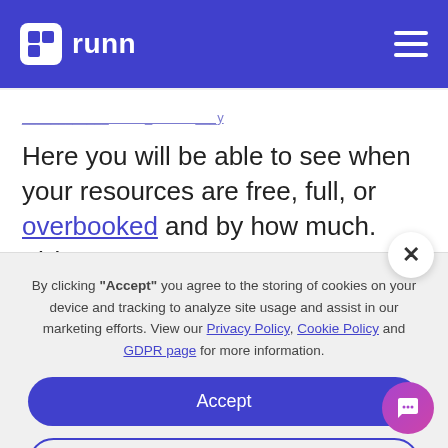[Figure (logo): Runn logo with white icon on blue navbar background, hamburger menu icon on right]
Here you will be able to see when your resources are free, full, or overbooked and by how much. Th...
By clicking "Accept" you agree to the storing of cookies on your device and tracking to analyze site usage and assist in our marketing efforts. View our Privacy Policy, Cookie Policy and GDPR page for more information.
Accept
Deny
Preferences